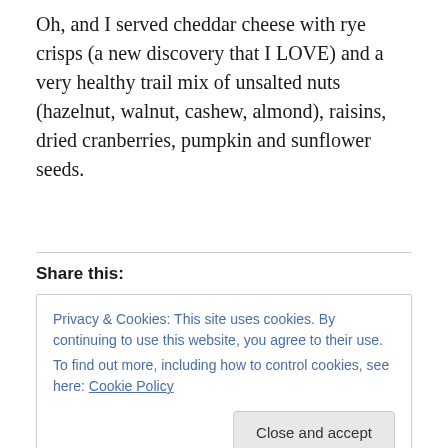Oh, and I served cheddar cheese with rye crisps (a new discovery that I LOVE) and a very healthy trail mix of unsalted nuts (hazelnut, walnut, cashew, almond), raisins, dried cranberries, pumpkin and sunflower seeds.
Share this:
Privacy & Cookies: This site uses cookies. By continuing to use this website, you agree to their use.
To find out more, including how to control cookies, see here: Cookie Policy